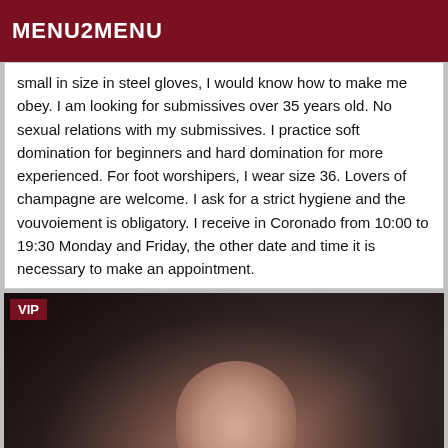MENU2MENU
small in size in steel gloves, I would know how to make me obey. I am looking for submissives over 35 years old. No sexual relations with my submissives. I practice soft domination for beginners and hard domination for more experienced. For foot worshipers, I wear size 36. Lovers of champagne are welcome. I ask for a strict hygiene and the vouvoiement is obligatory. I receive in Coronado from 10:00 to 19:30 Monday and Friday, the other date and time it is necessary to make an appointment.
[Figure (photo): Dark photograph showing a partial close-up image of a person with a VIP badge overlay in the top-left corner]